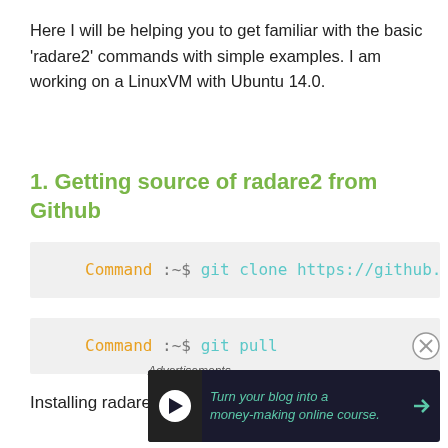Here I will be helping you to get familiar with the basic 'radare2' commands with simple examples. I am working on a LinuxVM with Ubuntu 14.0.
1. Getting source of radare2 from Github
Command :~$ git clone https://github.com/
Command :~$ git pull
Installing radare2
[Figure (screenshot): Advertisement banner: 'Turn your blog into a money-making online course.' with arrow button, on dark background, with Advertisements label above]